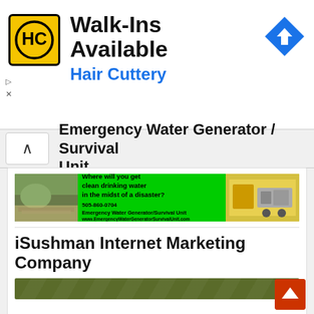[Figure (advertisement): Hair Cuttery ad banner: yellow HC logo, Walk-Ins Available heading, Hair Cuttery subtitle in blue, blue diamond arrow icon on right]
Emergency Water Generator / Survival Unit
[Figure (advertisement): Green banner ad for Emergency Water Generator/Survival Unit: left image of debris/disaster, text 'Where will you get clean drinking water in the midst of a disaster?', phone 505-860-0704, right image of yellow equipment]
iSushman Internet Marketing Company
[Figure (logo): iSushman Consulting Group logo: olive green hand icon with eye in palm, text 'iSushman Consulting Group', subtext 'Internet Marketing & Social Media', tagline 'The new way to sell is not to sell at all' in italic olive text]